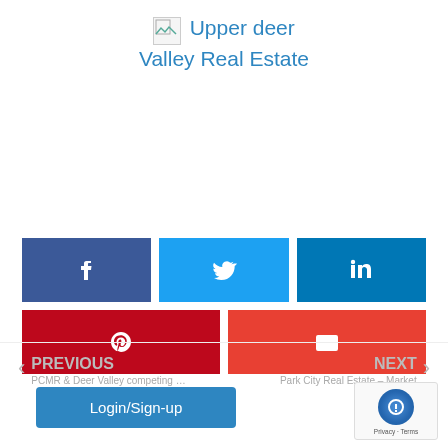Upper deer Valley Real Estate
[Figure (other): Social share buttons: Facebook, Twitter, LinkedIn, Pinterest, Email]
PREVIOUS
PCMR & Deer Valley competing …
NEXT
Park City Real Estate – Market
Login/Sign-up